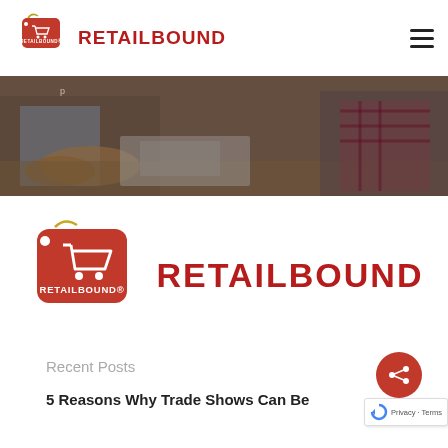RETAILBOUND
[Figure (photo): Hero banner photo showing two people working at a table with papers/documents, one person wearing a plaid shirt]
[Figure (logo): Retailbound logo — red price-tag shape with shopping cart icon and RETAILBOUND text]
Recent Posts
5 Reasons Why Trade Shows Can Be...